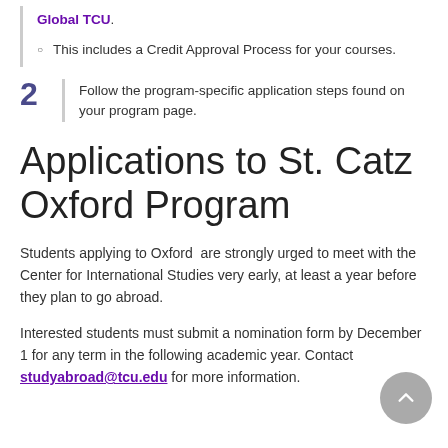Global TCU.
This includes a Credit Approval Process for your courses.
Follow the program-specific application steps found on your program page.
Applications to St. Catz Oxford Program
Students applying to Oxford  are strongly urged to meet with the Center for International Studies very early, at least a year before they plan to go abroad.
Interested students must submit a nomination form by December 1 for any term in the following academic year. Contact studyabroad@tcu.edu for more information.